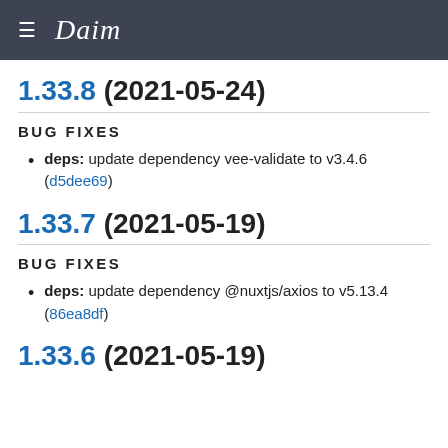≡ Daim
1.33.8 (2021-05-24)
BUG FIXES
deps: update dependency vee-validate to v3.4.6 (d5dee69)
1.33.7 (2021-05-19)
BUG FIXES
deps: update dependency @nuxtjs/axios to v5.13.4 (86ea8df)
1.33.6 (2021-05-19)